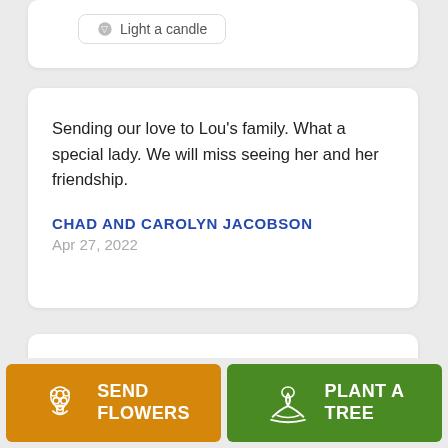Light a candle
Sending our love to Lou's family. What a special lady. We will miss seeing her and her friendship.
CHAD AND CAROLYN JACOBSON
Apr 27, 2022
Lou was my softball coach she taught us to play ball she tookus to games in her red station wagon
SEND FLOWERS
PLANT A TREE